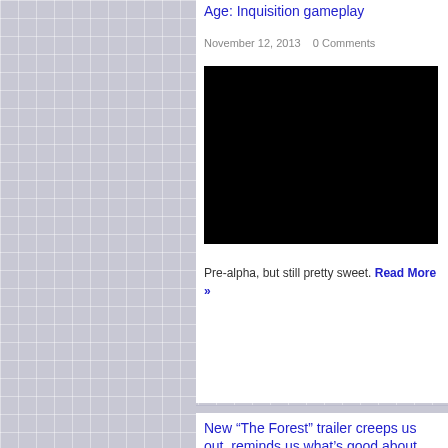Age: Inquisition gameplay
November 12, 2013   0 Comments
[Figure (photo): Black video player thumbnail/embed area]
Pre-alpha, but still pretty sweet. Read More »
New “The Forest” trailer creeps us out, reminds us what’s good about